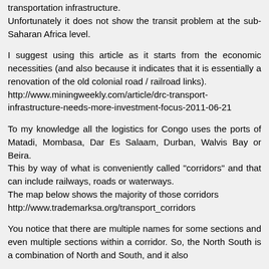transportation infrastructure.
Unfortunately it does not show the transit problem at the sub-Saharan Africa level.
I suggest using this article as it starts from the economic necessities (and also because it indicates that it is essentially a renovation of the old colonial road / railroad links).
http://www.miningweekly.com/article/drc-transport-infrastructure-needs-more-investment-focus-2011-06-21
To my knowledge all the logistics for Congo uses the ports of Matadi, Mombasa, Dar Es Salaam, Durban, Walvis Bay or Beira.
This by way of what is conveniently called "corridors" and that can include railways, roads or waterways.
The map below shows the majority of those corridors
http://www.trademarksa.org/transport_corridors
You notice that there are multiple names for some sections and even multiple sections within a corridor. So, the North South is a combination of North and South, and it also